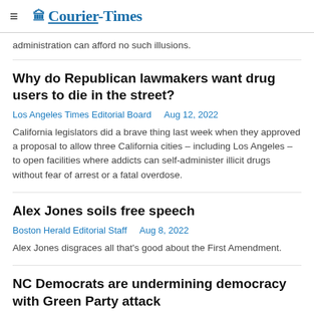Courier-Times
administration can afford no such illusions.
Why do Republican lawmakers want drug users to die in the street?
Los Angeles Times Editorial Board   Aug 12, 2022
California legislators did a brave thing last week when they approved a proposal to allow three California cities – including Los Angeles – to open facilities where addicts can self-administer illicit drugs without fear of arrest or a fatal overdose.
Alex Jones soils free speech
Boston Herald Editorial Staff   Aug 8, 2022
Alex Jones disgraces all that's good about the First Amendment.
NC Democrats are undermining democracy with Green Party attack